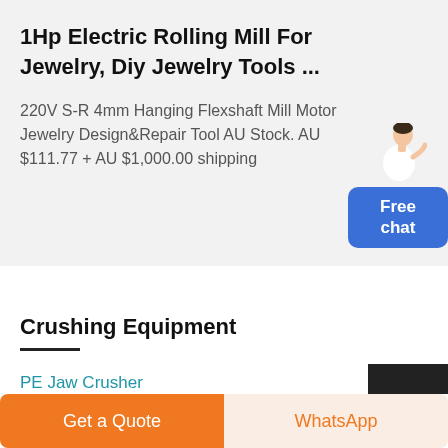1Hp Electric Rolling Mill For Jewelry, Diy Jewelry Tools ...
220V S-R 4mm Hanging Flexshaft Mill Motor Jewelry Design&Repair Tool AU Stock. AU $111.77 + AU $1,000.00 shipping
Crushing Equipment
PE Jaw Crusher
PEW Jaw Crusher